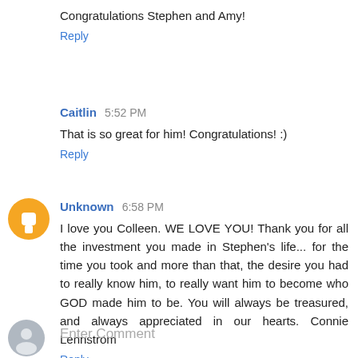Congratulations Stephen and Amy!
Reply
Caitlin  5:52 PM
That is so great for him! Congratulations! :)
Reply
Unknown  6:58 PM
I love you Colleen. WE LOVE YOU! Thank you for all the investment you made in Stephen's life... for the time you took and more than that, the desire you had to really know him, to really want him to become who GOD made him to be. You will always be treasured, and always appreciated in our hearts. Connie Lennstrom
Reply
Enter Comment